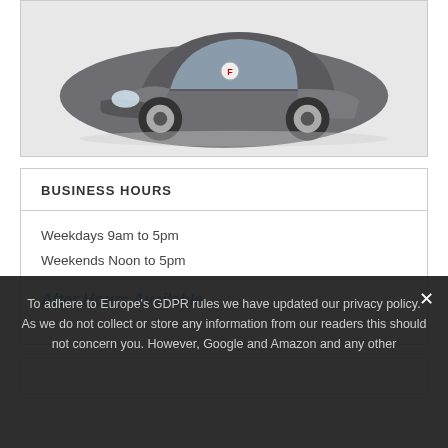[Figure (photo): Gray Fiat 500 compact car viewed from front three-quarter angle, on white background]
BUSINESS HOURS
Weekdays 9am to 5pm
Weekends Noon to 5pm
After Hours Available
To adhere to Europe's GDPR rules we have updated our privacy policy. As we do not collect or store any information from our readers this should not concern you. However, Google and Amazon and any other